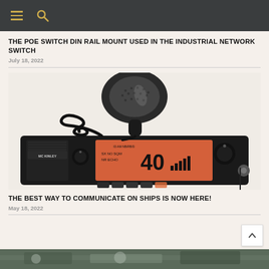Navigation header with hamburger menu and search icon
THE POE SWITCH DIN RAIL MOUNT USED IN THE INDUSTRIAL NETWORK SWITCH
July 18, 2022
[Figure (photo): CB radio transceiver (President McKinley) with handheld microphone, showing display reading channel 40 and red/orange illuminated LCD panel]
THE BEST WAY TO COMMUNICATE ON SHIPS IS NOW HERE!
May 18, 2022
[Figure (photo): Partially visible image at the bottom of the page, appears to show a ship or marine scene]